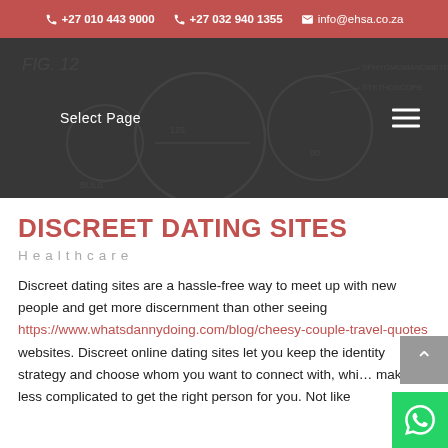+27 010 443 9000  +27 032 940 1355  info@ehsa.co.za
[Figure (screenshot): Dark navigation banner with medical diagram background (stethoscope/sphygmomanometer illustration), 'Select Page' menu link and hamburger menu icon]
DISCREET DATING SITES
Healthcare
Discreet dating sites are a hassle-free way to meet up with new people and get more discernment than other seeing https://www.whatsdannydoing.com/blog/cheesy-couple-travel-quotes websites. Discreet online dating sites let you keep the identity strategy and choose whom you want to connect with, which makes it less complicated to get the right person for you. Not like